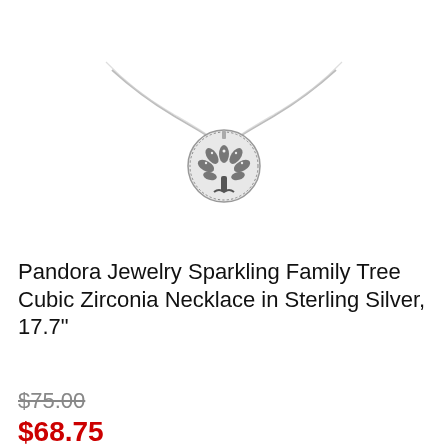[Figure (photo): Pandora sterling silver necklace with a round family tree pendant featuring a tree with leaves design and cubic zirconia, on a delicate chain]
Pandora Jewelry Sparkling Family Tree Cubic Zirconia Necklace in Sterling Silver, 17.7"
$75.00
$68.75